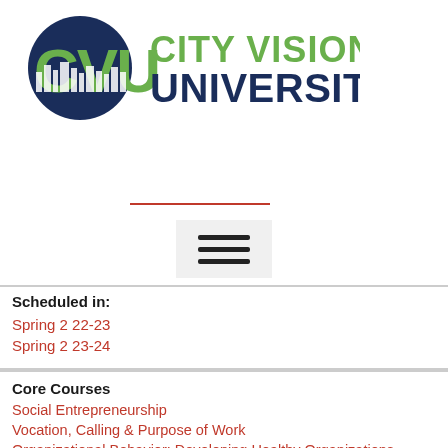[Figure (logo): City Vision University logo with CVU letters and cityscape graphic in green and dark navy blue]
[Figure (other): Horizontal hamburger menu icon (three horizontal lines) inside a light gray box]
Scheduled in:
Spring 2 22-23
Spring 2 23-24
Core Courses
Social Entrepreneurship
Vocation, Calling & Purpose of Work
Organizational Behavior: Developing Healthy Organizations
Strategic Management Capstone (take late in program)
Human Resources